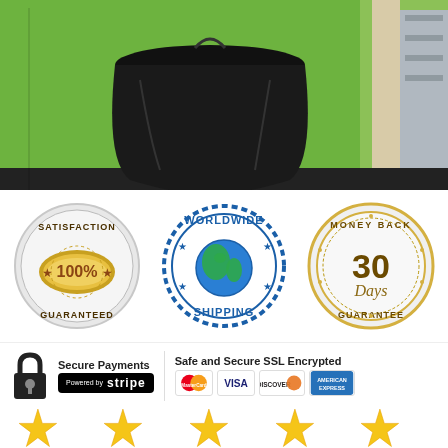[Figure (photo): A black trash bag hung on a bright green wall/cabinet in what appears to be an office or public space setting.]
[Figure (infographic): Three trust badges: 1) Gold medal with '100% Satisfaction Guaranteed', 2) Blue stamp circle 'Worldwide Shipping' with globe, 3) Gold coin '30 Days Money Back Guarantee']
[Figure (infographic): Secure payments section: black padlock icon, 'Secure Payments' text, 'Powered by stripe' black badge, then 'Safe and Secure SSL Encrypted' with MasterCard, VISA, Discover, and American Express card logos]
[Figure (infographic): Five gold/yellow stars rating row, partially cut off at bottom of page]